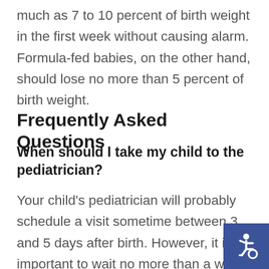much as 7 to 10 percent of birth weight in the first week without causing alarm. Formula-fed babies, on the other hand, should lose no more than 5 percent of birth weight.
Frequently Asked Questions
When should I take my child to the pediatrician?
Your child's pediatrician will probably schedule a visit sometime between 3 and 5 days after birth. However, it is important to wait no more than a week to schedule an initial pediatric visit. This is a crucial time – especially for babies who were discharged from the hospital at less than 48 hours